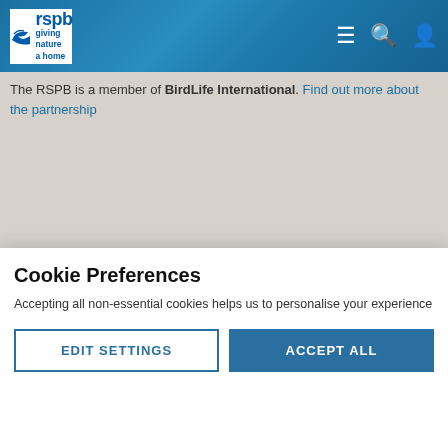[Figure (logo): RSPB logo with bird graphic and tagline 'giving nature a home' on blue background header with menu, search, and user icons]
The RSPB is a member of BirdLife International. Find out more about the partnership
[Figure (logo): Fundraising Regulator logo: circular FR badge in purple with text 'Registered with FUNDRAISING REGULATOR']
[Figure (logo): OSCR Scottish Charity Regulator logo in teal/green with border, text 'OSCR Scottish Charity Regulator www.oscr.org.uk']
Cookie Preferences
Accepting all non-essential cookies helps us to personalise your experience
EDIT SETTINGS | ACCEPT ALL